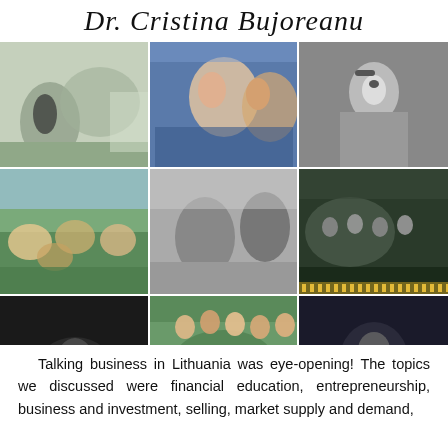Dr. Cristina Bujoreanu
[Figure (photo): 3x3 collage of photos showing group activities, people outdoors, workshops, and events related to business education in Lithuania]
Talking business in Lithuania was eye-opening! The topics we discussed were financial education, entrepreneurship, business and investment, selling, market supply and demand,